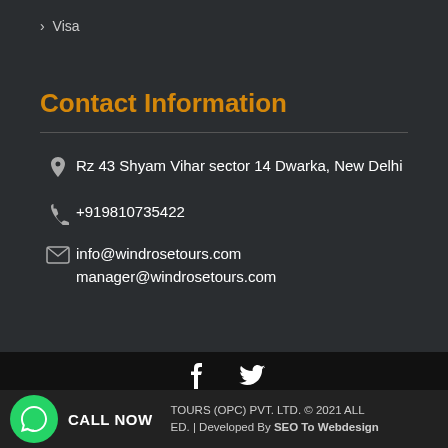> Visa
Contact Information
Rz 43 Shyam Vihar sector 14 Dwarka, New Delhi
+919810735422
info@windrosetours.com
manager@windrosetours.com
TOURS (OPC) PVT. LTD. © 2021 ALL ED. | Developed By SEO To Webdesign
CALL NOW